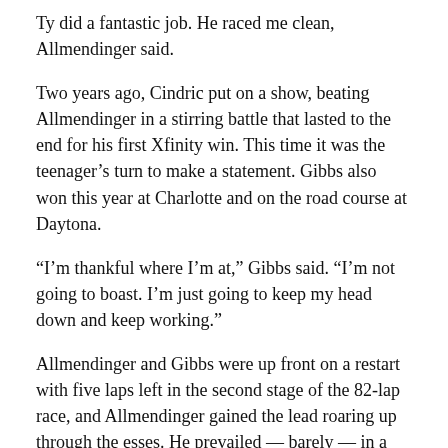Ty did a fantastic job. He raced me clean, Allmendinger said.
Two years ago, Cindric put on a show, beating Allmendinger in a stirring battle that lasted to the end for his first Xfinity win. This time it was the teenager’s turn to make a statement. Gibbs also won this year at Charlotte and on the road course at Daytona.
“I’m thankful where I’m at,” Gibbs said. “I’m not going to boast. I’m just going to keep my head down and keep working.”
Allmendinger and Gibbs were up front on a restart with five laps left in the second stage of the 82-lap race, and Allmendinger gained the lead roaring up through the esses. He prevailed — barely — in a side-by-side duel to the finish with Gibbs to take his sixth stage win of the season.